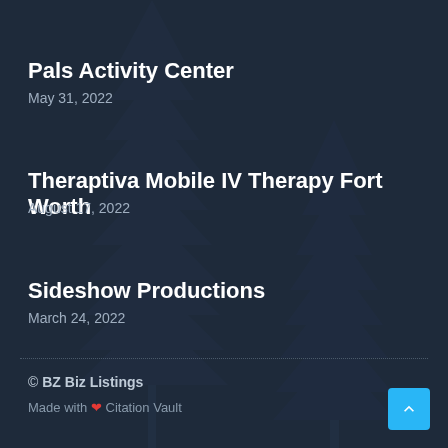Pals Activity Center
May 31, 2022
Theraptiva Mobile IV Therapy Fort Worth
August 17, 2022
Sideshow Productions
March 24, 2022
© BZ Biz Listings
Made with ❤ Citation Vault